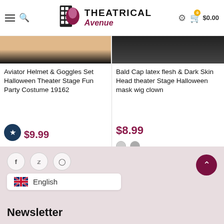Theatrical Avenue — header with hamburger menu, search, logo, settings, cart $0.00
[Figure (screenshot): Product image strip for Aviator Helmet — flesh tone and black gradient]
Aviator Helmet & Goggles Set Halloween Theater Stage Fun Party Costume 19162
$9.99
[Figure (screenshot): Product image strip for Bald Cap — dark/black background]
Bald Cap latex flesh & Dark Skin Head theater Stage Halloween mask wig clown
$8.99
Social icons: Facebook, Twitter, Instagram. Language selector: English. Newsletter heading. Back to top button.